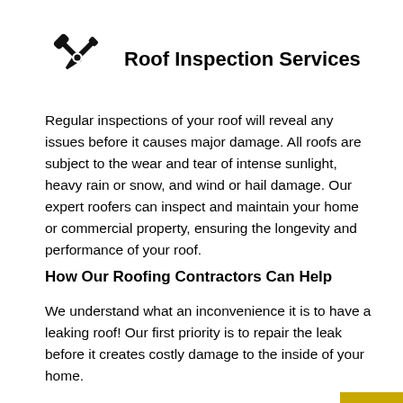Roof Inspection Services
Regular inspections of your roof will reveal any issues before it causes major damage. All roofs are subject to the wear and tear of intense sunlight, heavy rain or snow, and wind or hail damage. Our expert roofers can inspect and maintain your home or commercial property, ensuring the longevity and performance of your roof.
How Our Roofing Contractors Can Help
We understand what an inconvenience it is to have a leaking roof! Our first priority is to repair the leak before it creates costly damage to the inside of your home.